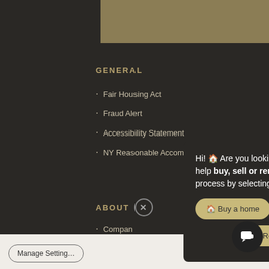[Figure (other): Dark tan/gold rectangular banner image at top]
GENERAL
Fair Housing Act
Fraud Alert
Accessibility Statement
NY Reasonable Accommodations Notice
ABOUT
Company
Hi! 🏠 Are you looking for a C21 agent to help buy, sell or rent? Quickstart the process by selecting below. 🏠
🏠 Buy a home
🏠 Sell a home
🏠 Rent a home
This site uses coo described in our privacy policy. operation, analytics, enhanced ou may choose to consent these technologies or manage your own preferen
Manage Settings
Decline